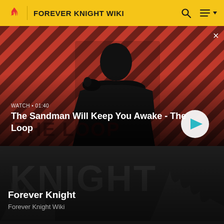FOREVER KNIGHT WIKI
[Figure (screenshot): Video thumbnail showing a dark-cloaked figure with a raven on his shoulder against a red diagonal-striped background. Text overlay: WATCH • 01:40 / The Sandman Will Keep You Awake - The Loop. Play button visible bottom right.]
[Figure (screenshot): Forever Knight Wiki card with dark smoky stylized text background. Title: Forever Knight. Subtitle: Forever Knight Wiki.]